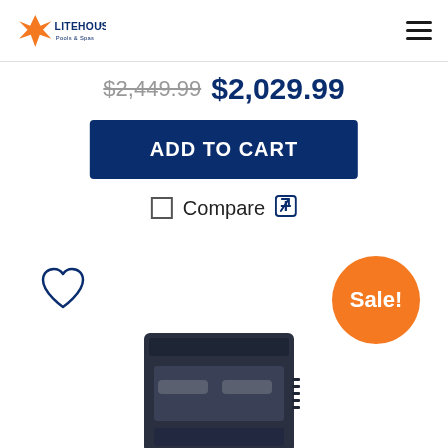Litehouse Pools & Spas
$2,449.99 $2,029.99
ADD TO CART
Compare
[Figure (other): Sale badge orange circle with Sale! text]
[Figure (photo): Product image of a pool/spa equipment unit (dark colored box-shaped device)]